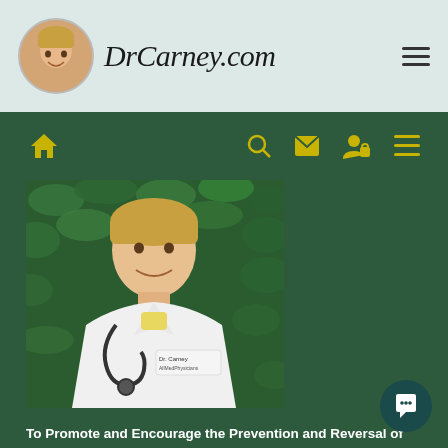DrCarney.com
[Figure (photo): Portrait photo of Dr. Carney in white lab coat with stethoscope, standing in front of green leafy background. Name tag reads 'Dr. Carney AllMedPhysicians'.]
To Promote and Encourage the Prevention and Reversal of Disease Through Personal Implementation of Practical Lifestyle Measures by Providing Starch-Smart® Health Education!